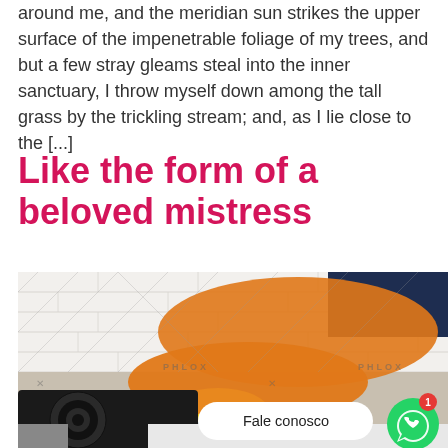around me, and the meridian sun strikes the upper surface of the impenetrable foliage of my trees, and but a few stray gleams steal into the inner sanctuary, I throw myself down among the tall grass by the trickling stream; and, as I lie close to the [...]
Like the form of a beloved mistress
[Figure (photo): Person wearing orange rubber gloves cleaning a gas stove top with a sponge. White brick tiles visible in background. Watermark 'PHLOX' visible. A WhatsApp chat bubble 'Fale conosco' and green WhatsApp icon with red notification badge showing '1' are overlaid on the image.]